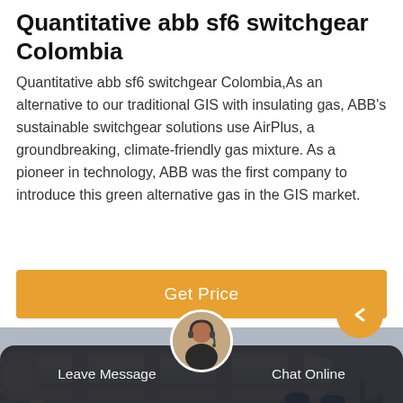Quantitative abb sf6 switchgear Colombia
Quantitative abb sf6 switchgear Colombia,As an alternative to our traditional GIS with insulating gas, ABB's sustainable switchgear solutions use AirPlus, a groundbreaking, climate-friendly gas mixture. As a pioneer in technology, ABB was the first company to introduce this green alternative gas in the GIS market.
[Figure (other): Orange 'Get Price' button]
[Figure (photo): Industrial switchgear equipment with workers in blue uniforms working on large pipes and machinery outdoors]
Leave Message   Chat Online